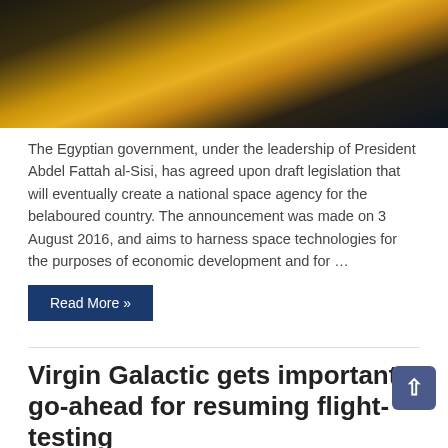[Figure (photo): Aerial/satellite night-time photograph of Egypt and the Nile River lit up with city lights, surrounded by dark terrain.]
The Egyptian government, under the leadership of President Abdel Fattah al-Sisi, has agreed upon draft legislation that will eventually create a national space agency for the belaboured country. The announcement was made on 3 August 2016, and aims to harness space technologies for the purposes of economic development and for …
Read More »
Virgin Galactic gets important go-ahead for resuming flight-testing
John Sheldon   August 2, 2016
News , Satellite , Satellite Launch Business
[Figure (photo): Partial blue banner/image strip at the bottom of the page.]